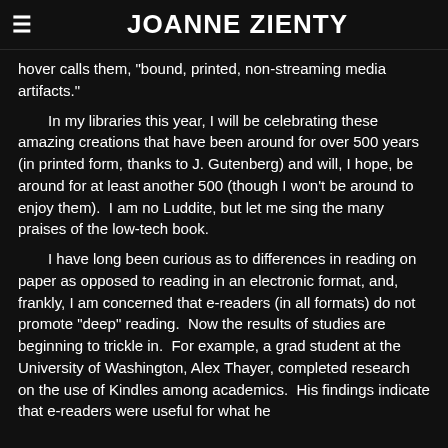JOANNE ZIENTY
hover calls them, "bound, printed, non-streaming media artifacts."

In my libraries this year, I will be celebrating these amazing creations that have been around for over 500 years (in printed form, thanks to J. Gutenberg) and will, I hope, be around for at least another 500 (though I won't be around to enjoy them). I am no Luddite, but let me sing the many praises of the low-tech book.

I have long been curious as to differences in reading on paper as opposed to reading in an electronic format, and, frankly, I am concerned that e-readers (in all formats) do not promote "deep" reading. Now the results of studies are beginning to trickle in. For example, a grad student at the University of Washington, Alex Thayer, completed research on the use of Kindles among academics. His findings indicate that e-readers were useful for what he